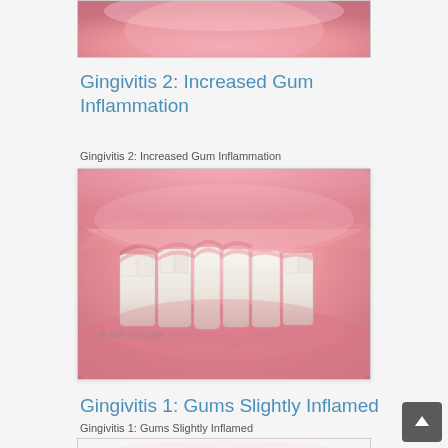[Figure (illustration): Partial view of dental/gum illustration showing inflamed pink gums, cropped at top of page]
Gingivitis 2: Increased Gum Inflammation
Gingivitis 2: Increased Gum Inflammation
[Figure (illustration): Medical illustration of teeth and gums showing increased gum inflammation (gingivitis stage 2). Pink/red inflamed gums visible around white teeth shown in lateral view. Copyright 2001 Lisa Clark watermark visible.]
Gingivitis 1: Gums Slightly Inflamed
Gingivitis 1: Gums Slightly Inflamed
[Figure (illustration): Partial view of dental illustration at bottom of page, cropped]